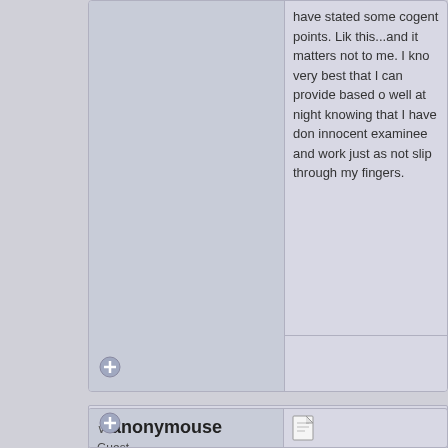have stated some cogent points.  Lik this...and it matters not to me.  I kno very best that I can provide based o well at night knowing that I have don innocent examinee and work just as not slip through my fingers.
anonymouse
Guest
Re: Passed the mandatory maintanance exam
Reply #28 - Mar 4th, 2003 at 12:01am
Just wondering torpedo, what was th